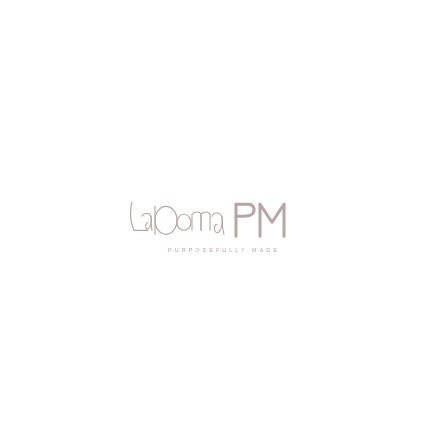[Figure (logo): LaDonna PM logo — script 'LaDonna' text combined with bold 'PM' monogram letters, with tagline 'PURPOSEFULLY MADE' underneath, all in muted rose/mauve color on white background]